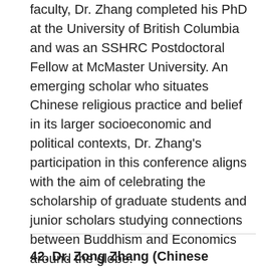faculty, Dr. Zhang completed his PhD at the University of British Columbia and was an SSHRC Postdoctoral Fellow at McMaster University. An emerging scholar who situates Chinese religious practice and belief in its larger socioeconomic and political contexts, Dr. Zhang's participation in this conference aligns with the aim of celebrating the scholarship of graduate students and junior scholars studying connections between Buddhism and Economics around the globe.
42. Dr. Zong Zhang (Chinese